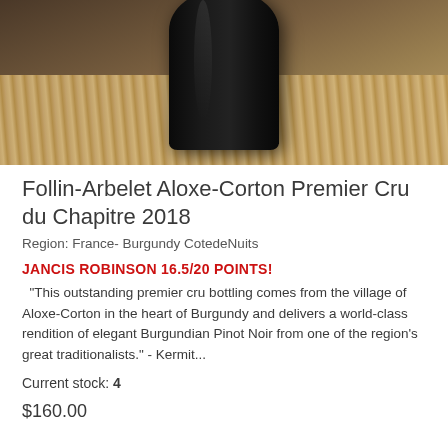[Figure (photo): Close-up photo of a dark wine bottle resting on straw/hay, viewed from above at an angle. The bottle cap and top portion are visible against a rustic background.]
Follin-Arbelet Aloxe-Corton Premier Cru du Chapitre 2018
Region: France- Burgundy CotedeNuits
JANCIS ROBINSON 16.5/20 POINTS!
"This outstanding premier cru bottling comes from the village of Aloxe-Corton in the heart of Burgundy and delivers a world-class rendition of elegant Burgundian Pinot Noir from one of the region's great traditionalists." - Kermit...
Current stock: 4
$160.00